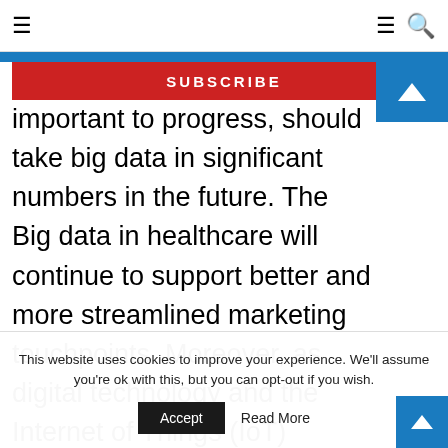≡  ≡ 🔍
SUBSCRIBE
important to progress, should take big data in significant numbers in the future. The Big data in healthcare will continue to support better and more streamlined marketing touchpoints. Moreover, as digital technology and the Internet of Things (IoT) becomes mainstream, the amount of data available will be that. Continuous monitoring of patients will be standard through wearable
This website uses cookies to improve your experience. We'll assume you're ok with this, but you can opt-out if you wish.
Accept   Read More